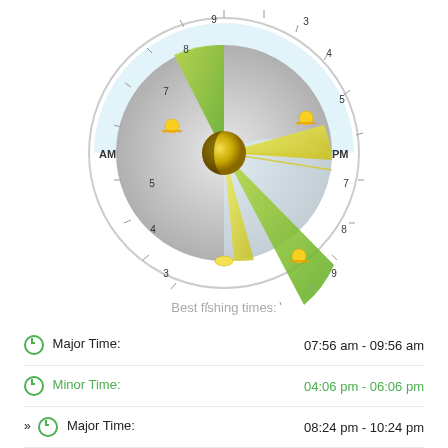[Figure (other): A circular fishing time dial/clock chart showing best fishing times. The dial has hour numbers around the outer ring (1-12 AM on left, 1-12 PM on right), with green and yellow wedge segments indicating major and minor fishing periods. A moon/sun icon is at the center. Sunrise icons appear at 7 AM and 8 PM positions.]
Best fishing times:
Major Time: 07:56 am - 09:56 am
Minor Time: 04:06 pm - 06:06 pm
>> Major Time: 08:24 pm - 10:24 pm